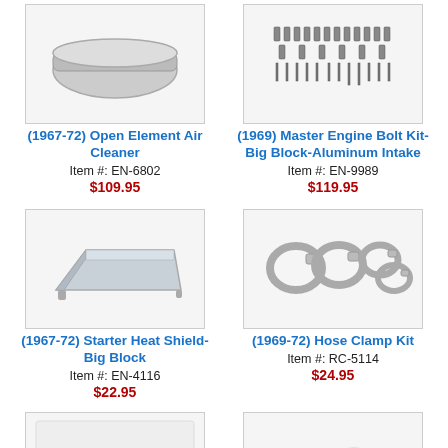[Figure (photo): Open Element Air Cleaner product photo]
(1967-72) Open Element Air Cleaner
Item #: EN-6802
$109.95
[Figure (photo): Master Engine Bolt Kit-Big Block-Aluminum Intake product photo]
(1969) Master Engine Bolt Kit-Big Block-Aluminum Intake
Item #: EN-9989
$119.95
[Figure (photo): Starter Heat Shield-Big Block product photo]
(1967-72) Starter Heat Shield-Big Block
Item #: EN-4116
$22.95
[Figure (photo): Hose Clamp Kit product photo]
(1969-72) Hose Clamp Kit
Item #: RC-5114
$24.95
[Figure (photo): Bottom left product partial photo]
[Figure (photo): Bottom right product partial photo]